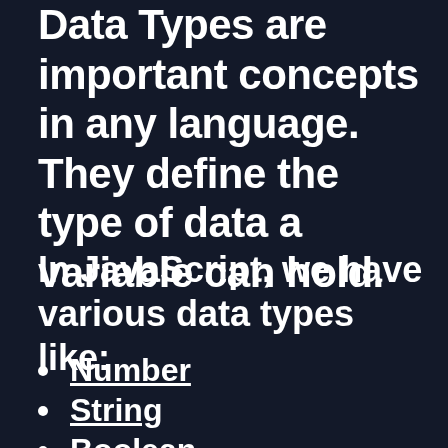Data Types are important concepts in any language. They define the type of data a variable can hold.
In JavaScript, we have various data types like:
Number
String
Boolean